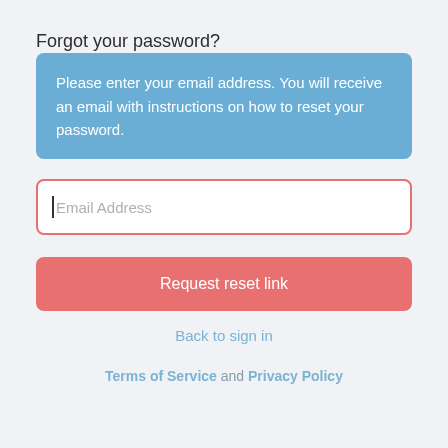Forgot your password?
Please enter your email address. You will receive an email with instructions on how to reset your password.
Email Address
Request reset link
Back to sign in
Terms of Service and Privacy Policy